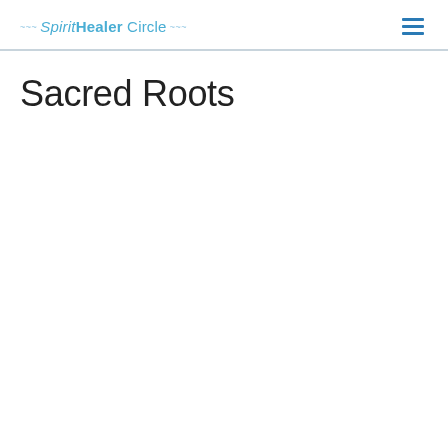SpiritHealer Circle
Sacred Roots